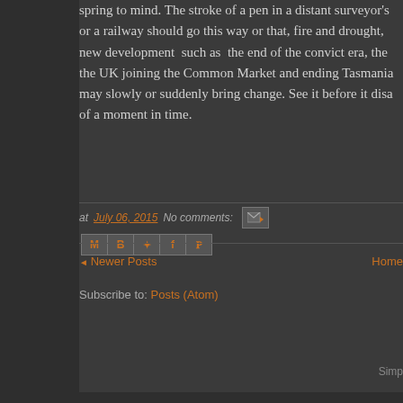spring to mind. The stroke of a pen in a distant surveyor's or a railway should go this way or that, fire and drought, new development such as the end of the convict era, the the UK joining the Common Market and ending Tasmania may slowly or suddenly bring change. See it before it disa of a moment in time.
at July 06, 2015   No comments:
Newer Posts   Home
Subscribe to: Posts (Atom)
Simp